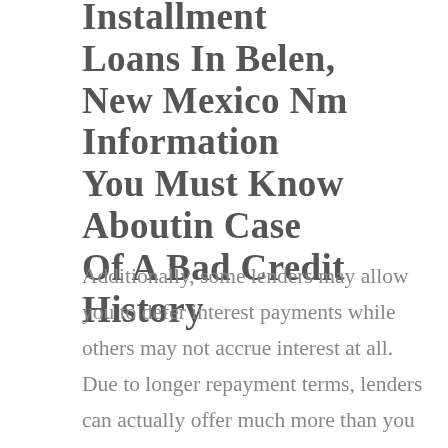Installment Loans In Belen, New Mexico Nm Information You Must Know Aboutin Case Of A Bad Credit History
Additionally, some lenders may allow you to defer interest payments while others may not accrue interest at all. Due to longer repayment terms, lenders can actually offer much more than you can get from a payday loan. Apart from that, applying for a larger